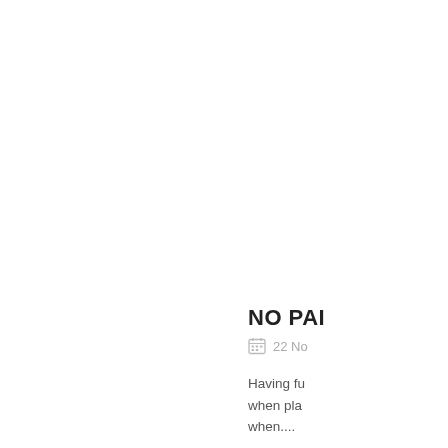NO PAI
22 No
Having fu when pla when....